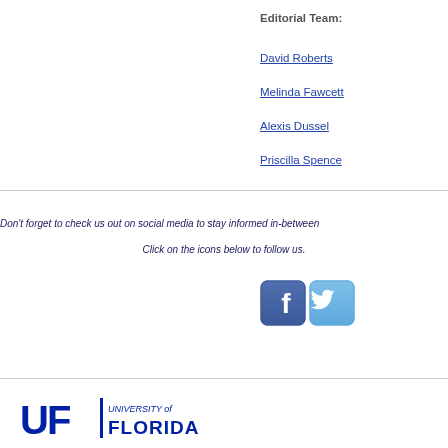Editorial Team:
David Roberts
Melinda Fawcett
Alexis Dussel
Priscilla Spence
Don't forget to check us out on social media to stay informed in-between
Click on the icons below to follow us.
[Figure (logo): Facebook and Twitter social media icons]
[Figure (logo): University of Florida logo]